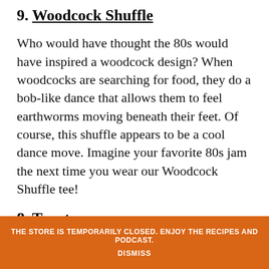9. Woodcock Shuffle
Who would have thought the 80s would have inspired a woodcock design? When woodcocks are searching for food, they do a bob-like dance that allows them to feel earthworms moving beneath their feet. Of course, this shuffle appears to be a cool dance move. Imagine your favorite 80s jam the next time you wear our Woodcock Shuffle tee!
8. Toyota
We've all daydreamed about our favorite hunting rigs. One of ours just happens to be a classic Toyota Tacoma. Outfitted with the best hunting gear and
THE STORE IS TEMPORARILY CLOSED. ENJOY THE RECIPES AND PODCAST. DISMISS